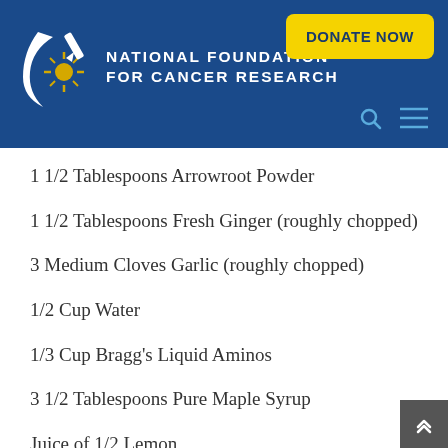[Figure (logo): National Foundation for Cancer Research logo with white crescent and sun/star emblem on dark blue header background]
1 1/2 Tablespoons Arrowroot Powder
1 1/2 Tablespoons Fresh Ginger (roughly chopped)
3 Medium Cloves Garlic (roughly chopped)
1/2 Cup Water
1/3 Cup Bragg's Liquid Aminos
3 1/2 Tablespoons Pure Maple Syrup
Juice of 1/2 Lemon
Stir Fr…